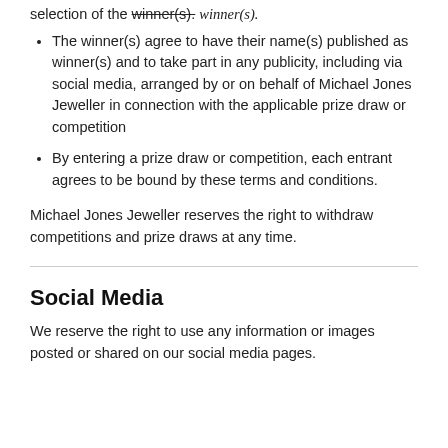selection of the winner(s).
The winner(s) agree to have their name(s) published as winner(s) and to take part in any publicity, including via social media, arranged by or on behalf of Michael Jones Jeweller in connection with the applicable prize draw or competition
By entering a prize draw or competition, each entrant agrees to be bound by these terms and conditions.
Michael Jones Jeweller reserves the right to withdraw competitions and prize draws at any time.
Social Media
We reserve the right to use any information or images posted or shared on our social media pages.